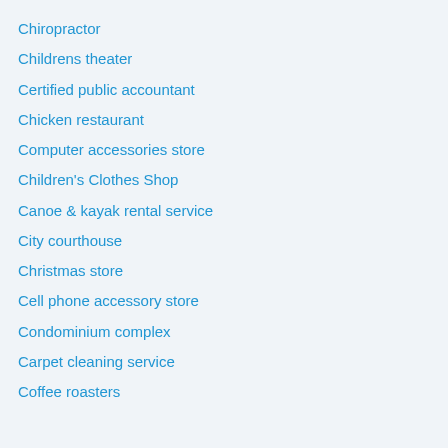Chiropractor
Childrens theater
Certified public accountant
Chicken restaurant
Computer accessories store
Children's Clothes Shop
Canoe & kayak rental service
City courthouse
Christmas store
Cell phone accessory store
Condominium complex
Carpet cleaning service
Coffee roasters